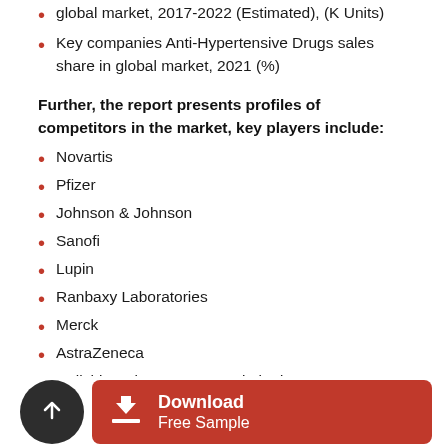global market, 2017-2022 (Estimated), (K Units)
Key companies Anti-Hypertensive Drugs sales share in global market, 2021 (%)
Further, the report presents profiles of competitors in the market, key players include:
Novartis
Pfizer
Johnson & Johnson
Sanofi
Lupin
Ranbaxy Laboratories
Merck
AstraZeneca
Daiichi Sankyo Company Limited
Takeda Pharmaceutical